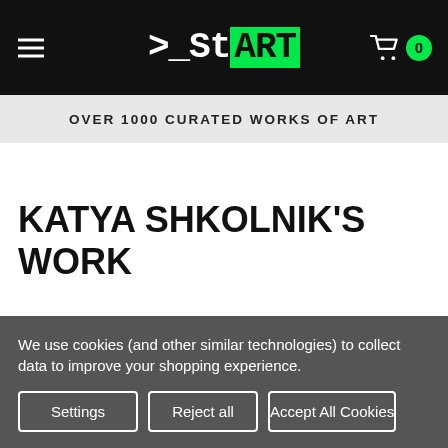>_StART — OVER 1000 CURATED WORKS OF ART
KATYA SHKOLNIK'S WORK
We use cookies (and other similar technologies) to collect data to improve your shopping experience.
Settings
Reject all
Accept All Cookies